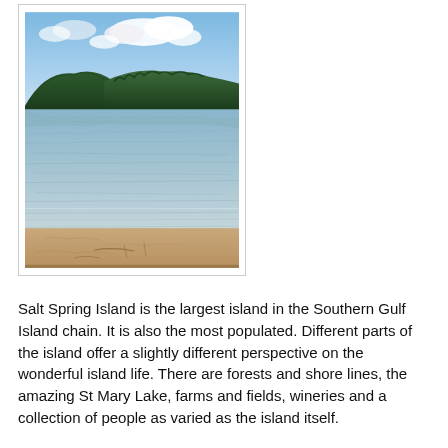[Figure (photo): Photograph of St Mary Lake on Salt Spring Island showing calm water with reflections, forested hills in the background, sandy shoreline in the foreground, and partly cloudy blue sky above.]
Salt Spring Island is the largest island in the Southern Gulf Island chain. It is also the most populated. Different parts of the island offer a slightly different perspective on the wonderful island life. There are forests and shore lines, the amazing St Mary Lake, farms and fields, wineries and a collection of people as varied as the island itself.